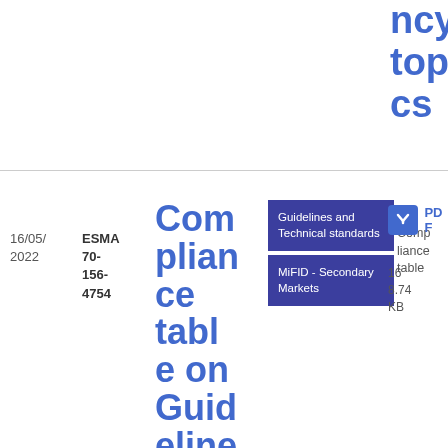ncy topics
| Date | Reference | Title | Tags | Compliance table | Download |
| --- | --- | --- | --- | --- | --- |
| 16/05/2022 | ESMA 70-156-4754 | Compliance table on Guidelines on MiFID II/MiFIR obligations on market... | Guidelines and Technical standards | MiFID - Secondary Markets | Compliance table | PDF 168.74 KB |